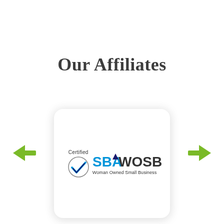Our Affiliates
[Figure (logo): SBA WOSB - Certified Woman Owned Small Business logo inside a rounded white card with shadow]
[Figure (other): Green left-pointing arrow navigation button]
[Figure (other): Green right-pointing arrow navigation button]